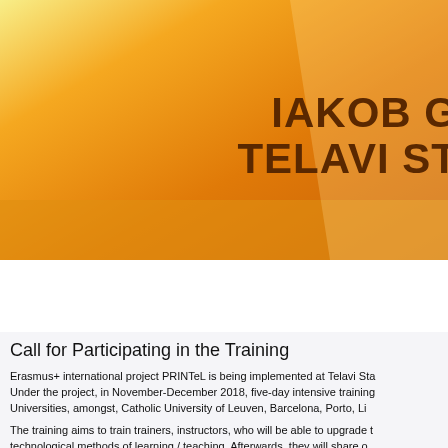[Figure (illustration): Orange and yellow gradient banner header with a light triangular shape overlay and bold brown text reading 'IAKOB G' and 'TELAVI ST' (partially visible, cropped)]
IAKOB G
TELAVI ST
HOME   ABOUT US   NEWS   STUDIES
Call for Participating in the Training
Erasmus+ international project PRINTeL is being implemented at Telavi Sta... Under the project, in November-December 2018, five-day intensive training... Universities, amongst, Catholic University of Leuven, Barcelona, Porto, Li...
The training aims to train trainers, instructors, who will be able to upgrade t... technological methods of learning / teaching. Afterwards, they will share o...